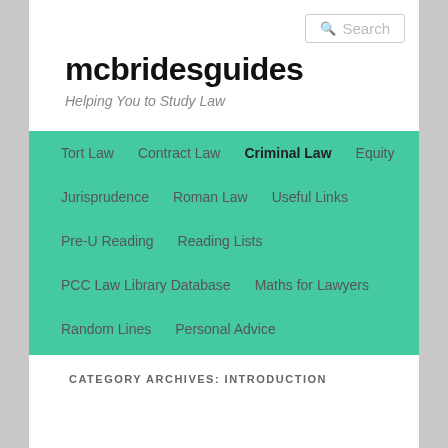Search
mcbridesguides
Helping You to Study Law
Tort Law
Contract Law
Criminal Law
Equity
Jurisprudence
Roman Law
Useful Links
Pre-U Reading
Reading Lists
PCC Law Library Database
Maths for Lawyers
Random Lines
Personal Advice
CATEGORY ARCHIVES: INTRODUCTION